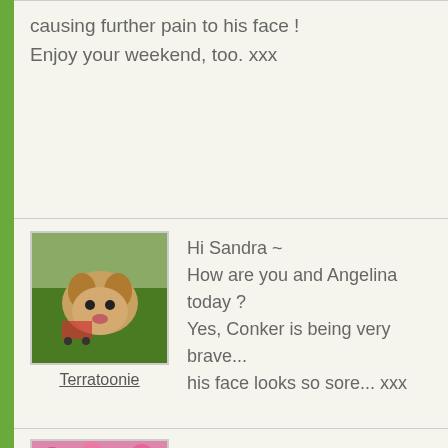causing further pain to his face ! Enjoy your weekend, too. xxx
Hi Sandra ~
How are you and Angelina today ?
Yes, Conker is being very brave...
his face looks so sore... xxx
Terratoonie
hi Terra im alot better today still have or though lol, baz still painting lounge so in on here and starting to drift :o)
i feel so sorry for conker his poor face, o seem in any pain with it xxx
Sanbaz